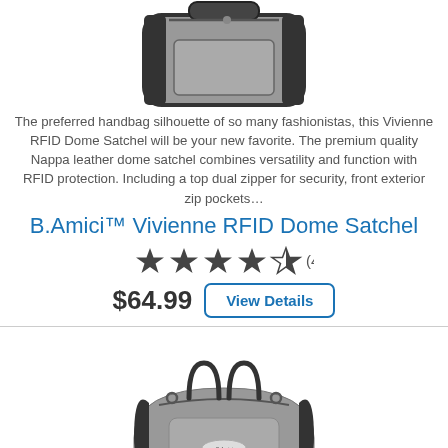[Figure (photo): Gray and black dome satchel handbag, top portion visible, shown from front angle]
The preferred handbag silhouette of so many fashionistas, this Vivienne RFID Dome Satchel will be your new favorite. The premium quality Nappa leather dome satchel combines versatility and function with RFID protection. Including a top dual zipper for security, front exterior zip pockets…
B.Amici™ Vivienne RFID Dome Satchel
★★★★½ (4)
$64.99  View Details
[Figure (photo): Gray and black dome satchel handbag shown from front, second product listing]